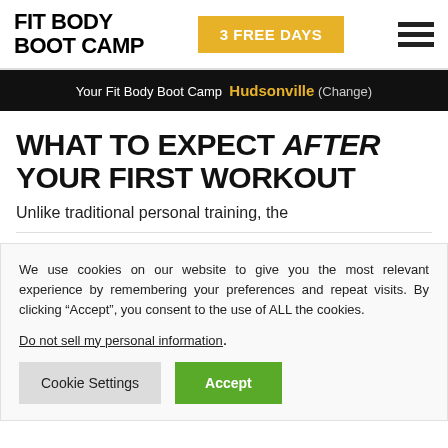FIT BODY BOOT CAMP | 3 FREE DAYS | [menu]
Your Fit Body Boot Camp Hudsonville (Change)
WHAT TO EXPECT AFTER YOUR FIRST WORKOUT
Unlike traditional personal training, the
We use cookies on our website to give you the most relevant experience by remembering your preferences and repeat visits. By clicking “Accept”, you consent to the use of ALL the cookies.
Do not sell my personal information.
Cookie Settings | Accept